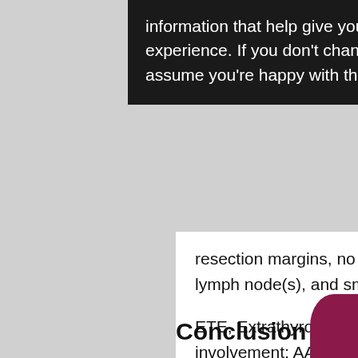information that help give you the very best browsing experience. If you don't change your settings, we'll assume you're happy with this. More information
resection margins, no contralateral lesion, no suspicious lymph node(s), and small (<1 cm).
ETE, Extrathyroidal extension; N0, No lymph node involvement; AACE/ACE-AME, American College of Clinical Endocrinologists, American College of Endocrinology, Associazione Medici Endocrinologi.
Conclusion